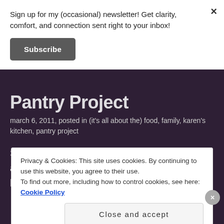Sign up for my (occasional) newsletter! Get clarity, comfort, and connection sent right to your inbox!
Subscribe
Pantry Project
march 6, 2011, posted in (it's all about the) food, family, karen's kitchen, pantry project
Sauteed chicken cutlets, roasted fingerlings and baby carrots Cooking from what's on hand isn't as hard as I
Privacy & Cookies: This site uses cookies. By continuing to use this website, you agree to their use.
To find out more, including how to control cookies, see here: Cookie Policy
Close and accept